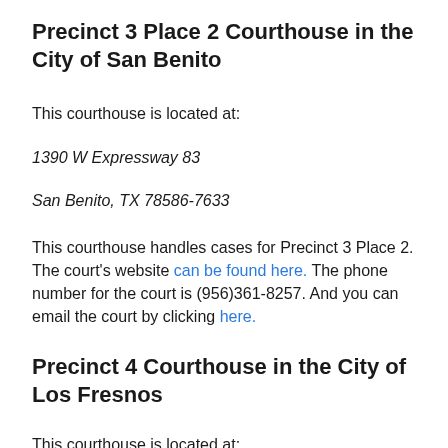Precinct 3 Place 2 Courthouse in the City of San Benito
This courthouse is located at:
1390 W Expressway 83
San Benito, TX 78586-7633
This courthouse handles cases for Precinct 3 Place 2. The court's website can be found here. The phone number for the court is (956)361-8257. And you can email the court by clicking here.
Precinct 4 Courthouse in the City of Los Fresnos
This courthouse is located at: